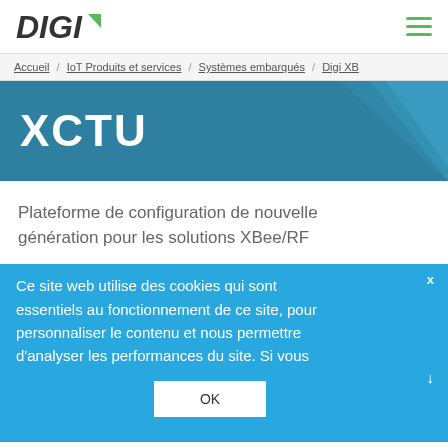DIGI [logo] | hamburger menu
Accueil / IoT Produits et services / Systèmes embarqués / Digi XB
XCTU
Plateforme de configuration de nouvelle génération pour les solutions XBee/RF
Ce site web utilise des cookies qui sont essentiels au fonctionnement de ce site, pour personnaliser le contenu et nous permettre d'analyser les performances du site. Si vous
OK